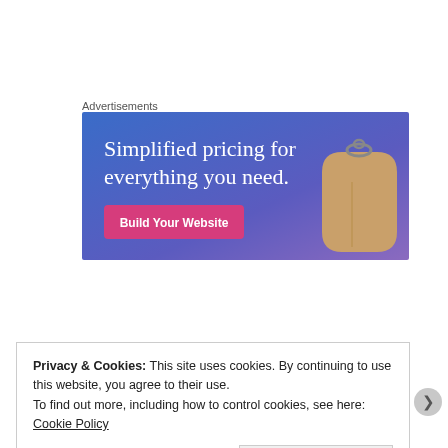Advertisements
[Figure (illustration): Advertisement banner with blue-to-purple gradient background. Large white serif text reads 'Simplified pricing for everything you need.' A pink/magenta button labeled 'Build Your Website' appears in the lower left. A tan/brown price tag hangs from the right side.]
Privacy & Cookies: This site uses cookies. By continuing to use this website, you agree to their use.
To find out more, including how to control cookies, see here: Cookie Policy
Close and accept